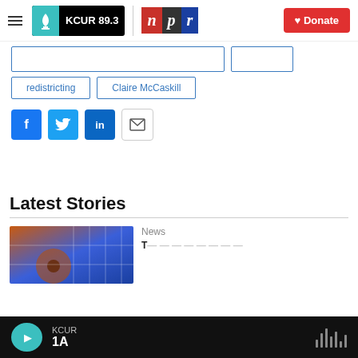KCUR 89.3 | npr | Donate
redistricting
Claire McCaskill
[Figure (other): Social share buttons: Facebook, Twitter, LinkedIn, Email]
Latest Stories
News
[Figure (photo): Thumbnail image showing a guitar and blue geometric pattern]
KCUR 1A